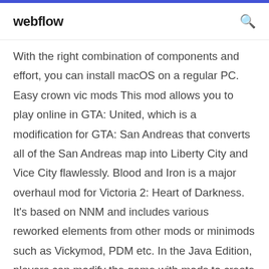webflow
With the right combination of components and effort, you can install macOS on a regular PC. Easy crown vic mods This mod allows you to play online in GTA: United, which is a modification for GTA: San Andreas that converts all of the San Andreas map into Liberty City and Vice City flawlessly. Blood and Iron is a major overhaul mod for Victoria 2: Heart of Darkness. It's based on NNM and includes various reworked elements from other mods or minimods such as Vickymod, PDM etc. In the Java Edition, players can modify the game with mods to create new gameplay mechanics, items, textures and assets.